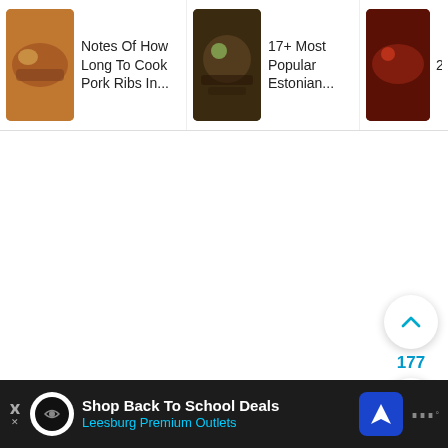[Figure (screenshot): Navigation bar with three article thumbnails and titles: 'Notes Of How Long To Cook Pork Ribs In...', '17+ Most Popular Estonian...', '20+ Easy Tasty [arrow] Rib Recipe...']
6. Peek-A-Boo Test
Suppose you have tried many ways but are still not sure that your ribs are cooked. Then just try it this w...
[Figure (infographic): Bottom advertisement banner: Shop Back To School Deals - Leesburg Premium Outlets]